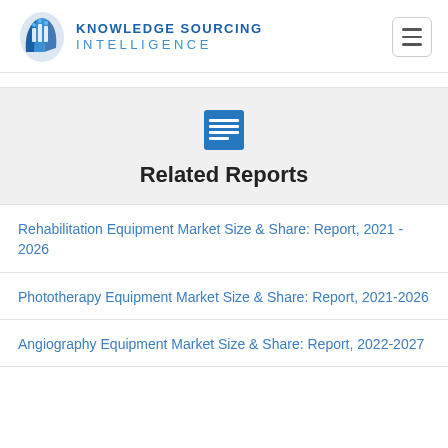Knowledge Sourcing Intelligence
Related Reports
Rehabilitation Equipment Market Size & Share: Report, 2021 - 2026
Phototherapy Equipment Market Size & Share: Report, 2021-2026
Angiography Equipment Market Size & Share: Report, 2022-2027